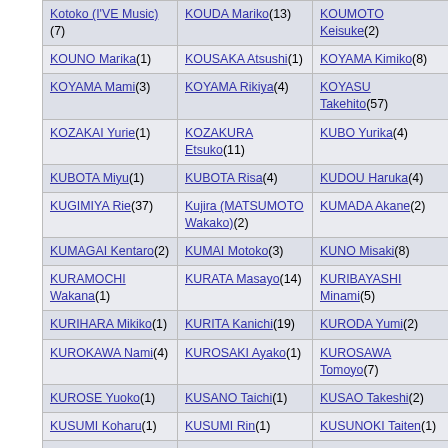| Kotoko (I'VE Music)(7) | KOUDA Mariko(13) | KOUMOTO Keisuke(2) |
| KOUNO Marika(1) | KOUSAKA Atsushi(1) | KOYAMA Kimiko(8) |
| KOYAMA Mami(3) | KOYAMA Rikiya(4) | KOYASU Takehito(57) |
| KOZAKAI Yurie(1) | KOZAKURA Etsuko(11) | KUBO Yurika(4) |
| KUBOTA Miyu(1) | KUBOTA Risa(4) | KUDOU Haruka(4) |
| KUGIMIYA Rie(37) | Kujira (MATSUMOTO Wakako)(2) | KUMADA Akane(2) |
| KUMAGAI Kentaro(2) | KUMAI Motoko(3) | KUNO Misaki(8) |
| KURAMOCHI Wakana(1) | KURATA Masayo(14) | KURIBAYASHI Minami(5) |
| KURIHARA Mikiko(1) | KURITA Kanichi(19) | KURODA Yumi(2) |
| KUROKAWA Nami(4) | KUROSAKI Ayako(1) | KUROSAWA Tomoyo(7) |
| KUROSE Yuoko(1) | KUSANO Taichi(1) | KUSAO Takeshi(2) |
| KUSUMI Koharu(1) | KUSUMI Rin(1) | KUSUNOKI Taiten(1) |
| KUSUNOKI ... | KUWAHARA ... | KUWASHIMA ... |